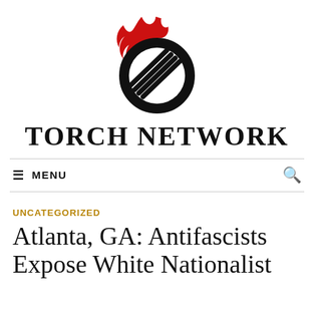[Figure (logo): Torch Network logo: a black circle with a stylized torch/flame design in red and black, with diagonal lines inside the circle]
TORCH NETWORK
≡ MENU
UNCATEGORIZED
Atlanta, GA: Antifascists Expose White Nationalist